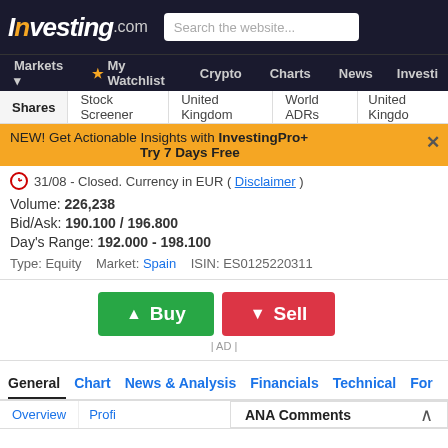Investing.com | Search the website... | Markets | My Watchlist | Crypto | Charts | News | Investi
Shares | Stock Screener | United Kingdom | World ADRs | United Kingdom
NEW! Get Actionable Insights with InvestingPro+ Try 7 Days Free
31/08 - Closed. Currency in EUR ( Disclaimer )
Volume: 226,238
Bid/Ask: 190.100 / 196.800
Day's Range: 192.000 - 198.100
Type: Equity   Market: Spain   ISIN: ES0125220311
[Figure (other): Buy and Sell buttons (green Buy, red Sell)]
| AD |
General   Chart   News & Analysis   Financials   Technical   For
Overview | Profi
ANA Comments